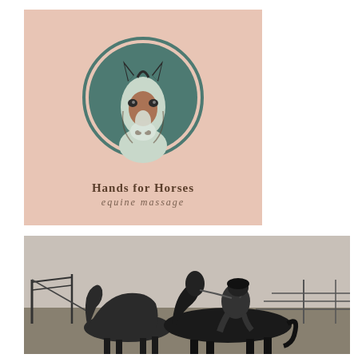[Figure (logo): Hands for Horses equine massage logo on a salmon/dusty pink background. A circular emblem with a teal/sage green circle containing an illustrated horse head (pale/white horse with a brown handprint marking on its face, dark ears). Below the emblem: bold serif text 'HANDS FOR HORSES' and italic script 'equine massage'.]
[Figure (photo): Black and white photograph of a person on horseback in a ranch/corral setting. The rider wears a helmet and is seated on a dark horse. Another horse is visible nearby. Metal fence panels and posts are in the background. The scene is dusty and the light is flat/overcast.]